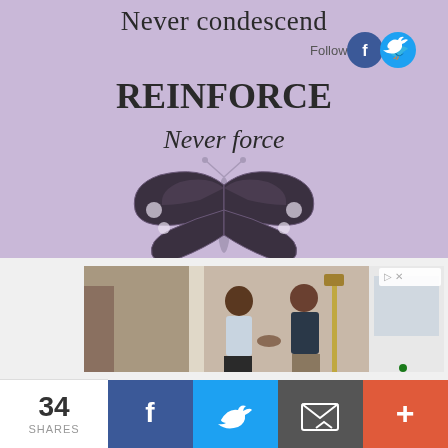Never condescend
[Figure (illustration): Purple background with butterfly illustration and text: REINFORCE / Never force]
[Figure (photo): Two men shaking hands in a doorway, advertisement image]
34 SHARES
[Figure (infographic): Social share bar with Facebook, Twitter, email, and more buttons]